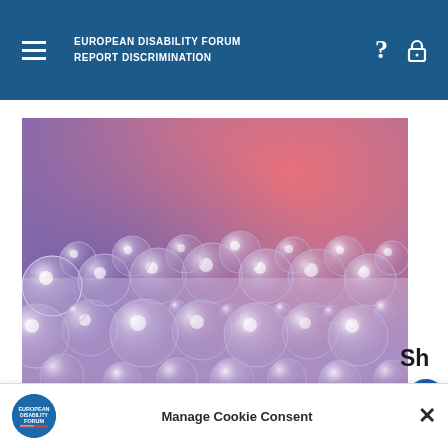EUROPEAN DISABILITY FORUM
REPORT DISCRIMINATION
[Figure (photo): Close-up macro photograph of translucent bubbles/foam with purple-pink gradient background tones]
Sh
Manage Cookie Consent